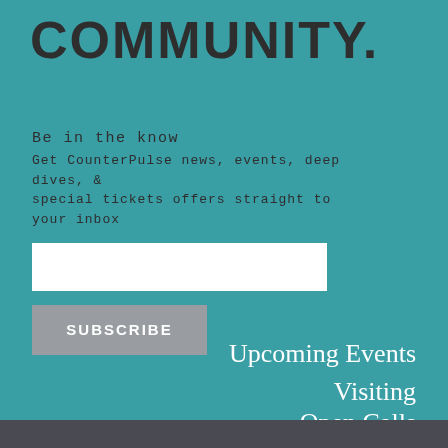COMMUNITY.
Be in the know
Get CounterPulse news, events, deep dives, & special tickets offers straight to your inbox
Upcoming Events
Visiting
Open Calls
Rentals
About Us